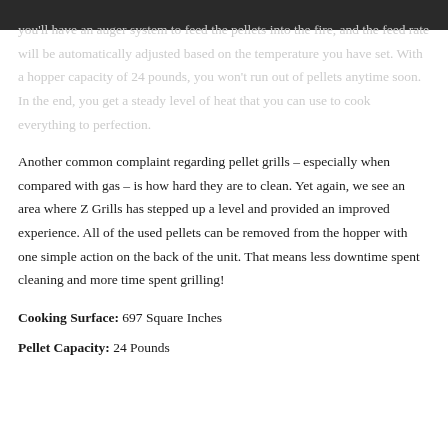you'll have an auger system to feed the pellets into the fire, and the feed rate will be automatically adjusted based on the temperature you have set. With a hopper capacity of 24 pounds, you won't run out of pellets anytime soon. In the end, you get a steady level of heat that you can use to cook everything to perfection.
Another common complaint regarding pellet grills – especially when compared with gas – is how hard they are to clean. Yet again, we see an area where Z Grills has stepped up a level and provided an improved experience. All of the used pellets can be removed from the hopper with one simple action on the back of the unit. That means less downtime spent cleaning and more time spent grilling!
Cooking Surface: 697 Square Inches
Pellet Capacity: 24 Pounds